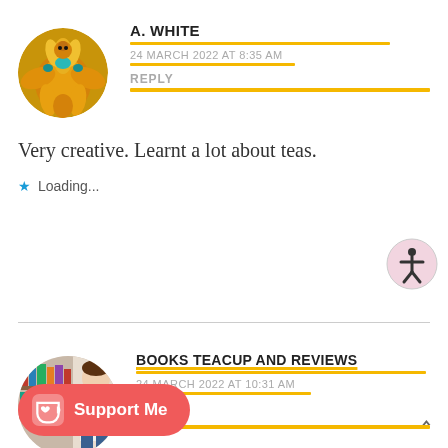[Figure (illustration): Circular avatar image showing a fantasy bird figure with golden and teal colors]
A. WHITE
24 MARCH 2022 AT 8:35 AM
REPLY
Very creative. Learnt a lot about teas.
Loading...
[Figure (illustration): Circular avatar showing a person holding a stack of books]
BOOKS TEACUP AND REVIEWS
24 MARCH 2022 AT 10:31 AM
REPLY
ank you! 😀
Loading...
Support Me